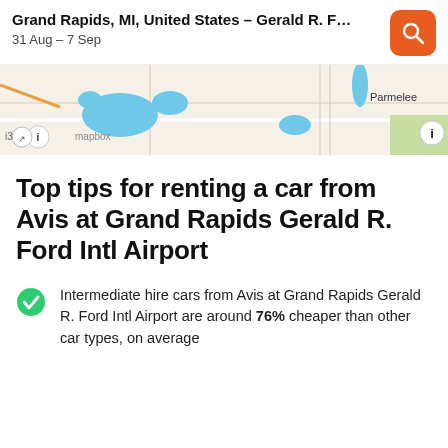Grand Rapids, MI, United States – Gerald R. F…
31 Aug – 7 Sep
[Figure (map): Mapbox map showing Grand Rapids area with water bodies in blue and Parmelee label visible]
Top tips for renting a car from Avis at Grand Rapids Gerald R. Ford Intl Airport
Intermediate hire cars from Avis at Grand Rapids Gerald R. Ford Intl Airport are around 76% cheaper than other car types, on average